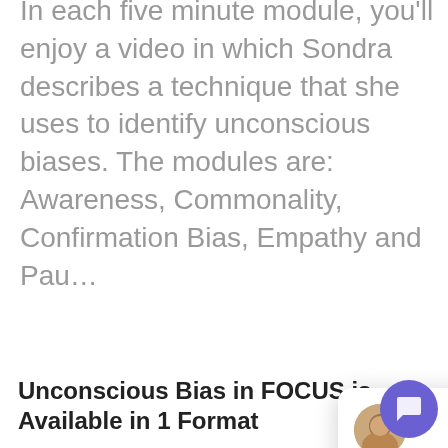In each five minute module, you'll enjoy a video in which Sondra describes a technique that she uses to identify unconscious biases. The modules are: Awareness, Commonality, Confirmation Bias, Empathy and Pau…
Unconsciou… a SCORM 1.2… be installed… time is about 25 minutes total.
[Figure (other): Chat popup with avatar photo of a person, close button (×), and text: 'Thank you for visiting SunShower Learning. We're happy to answer any questions that you may have.']
Unconscious Bias in FOCUS is Available in 1 Format
[Figure (other): Purple circular chat/messenger FAB button in bottom-right corner]